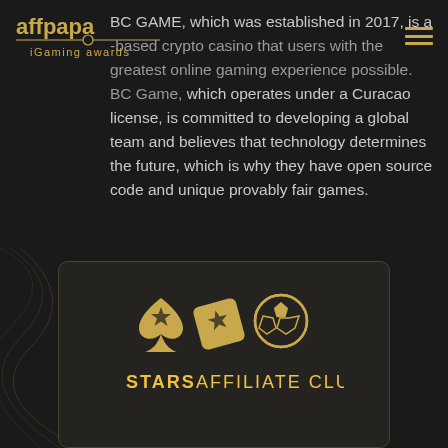[Figure (logo): affpapa iGaming awards logo in gold text on dark background]
BC GAME, which was established in 2017, is a -based crypto casino that users with the greatest online gaming experience possible. BC Game, which operates under a Curacao license, is committed to developing a global team and believes that technology determines the future, which is why they have open source code and unique provably fair games.
[Figure (logo): Stars Affiliate Club logo with spade, dice, and soccer ball icons in gold, with text STARS AFFILIATE CLUB]